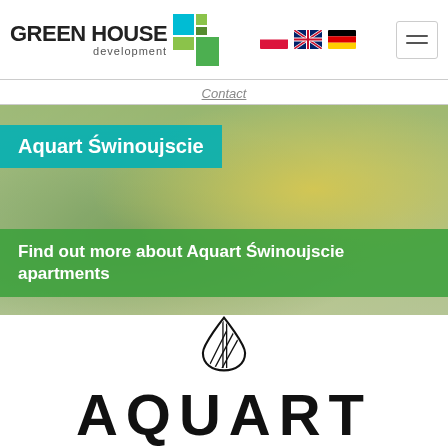[Figure (logo): Green House Development logo with green pixel/square graphic icon and text]
[Figure (illustration): Polish, UK, and German flag icons for language selection]
[Figure (illustration): Hamburger menu icon (three horizontal lines) in a bordered box]
Contact
Aquart Świnoujscie
Find out more about Aquart Świnoujscie apartments
[Figure (logo): AQUART logo — a water droplet outline with vertical line stripes inside, and the word AQUART in large black capitals below]